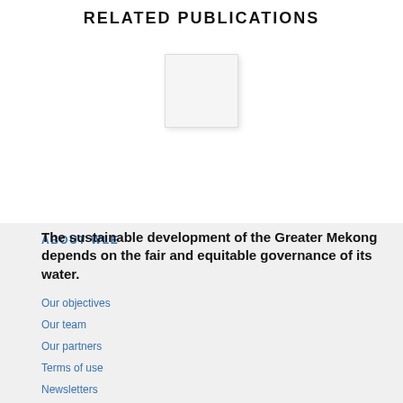RELATED PUBLICATIONS
[Figure (illustration): Small white/light grey rectangle placeholder image centered in upper section]
ABOUT WLE
The sustainable development of the Greater Mekong depends on the fair and equitable governance of its water.
Our objectives
Our team
Our partners
Terms of use
Newsletters
Contact us